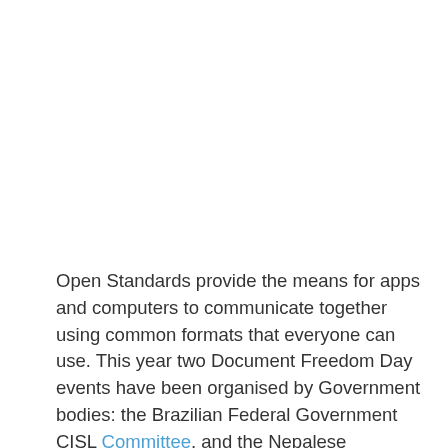Open Standards provide the means for apps and computers to communicate together using common formats that everyone can use. This year two Document Freedom Day events have been organised by Government bodies: the Brazilian Federal Government CISL Committee, and the Nepalese Department of Information Technology. Events in the European Parliament are today exploring Open Standards used for encryption, while the OpenStreetMap Foundation on Saturday received the